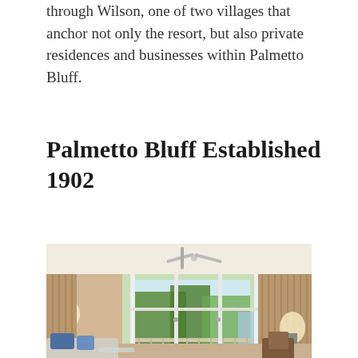through Wilson, one of two villages that anchor not only the resort, but also private residences and businesses within Palmetto Bluff.
Palmetto Bluff Established 1902
[Figure (photo): Interior photo of a resort room showing large French doors/sliding glass doors opening to a balcony with trees and water visible outside. Room has warm tan/gold curtains, ceiling fan, a white sofa with blue pillows, and a lamp on the left side. Natural light floods in through the glass doors.]